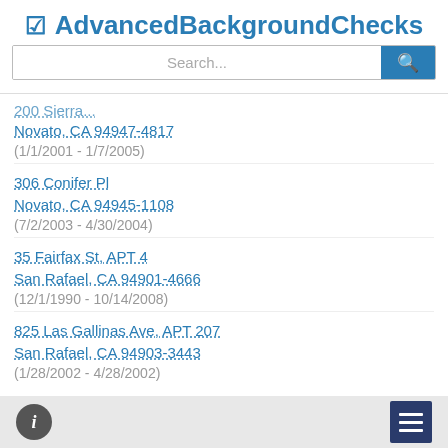AdvancedBackgroundChecks
Novato, CA 94947-4817
(1/1/2001 - 1/7/2005)
306 Conifer Pl
Novato, CA 94945-1108
(7/2/2003 - 4/30/2004)
35 Fairfax St, APT 4
San Rafael, CA 94901-4666
(12/1/1990 - 10/14/2008)
825 Las Gallinas Ave, APT 207
San Rafael, CA 94903-3443
(1/28/2002 - 4/28/2002)
info | menu